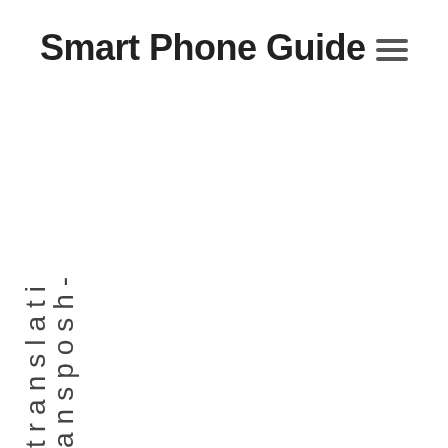Smart Phone Guide
ansposh-translati